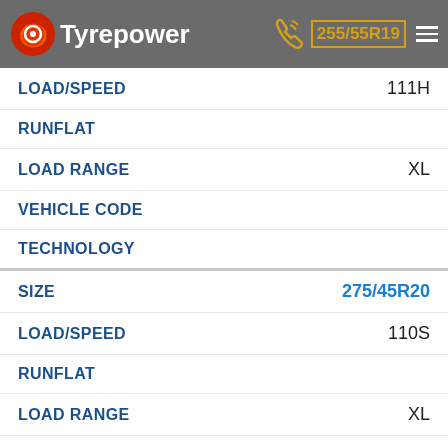Tyrepower — 255/55R19
| Field | Value |
| --- | --- |
| LOAD/SPEED | 111H |
| RUNFLAT |  |
| LOAD RANGE | XL |
| VEHICLE CODE |  |
| TECHNOLOGY |  |
| Field | Value |
| --- | --- |
| SIZE | 275/45R20 |
| LOAD/SPEED | 110S |
| RUNFLAT |  |
| LOAD RANGE | XL |
| VEHICLE CODE |  |
| TECHNOLOGY |  |